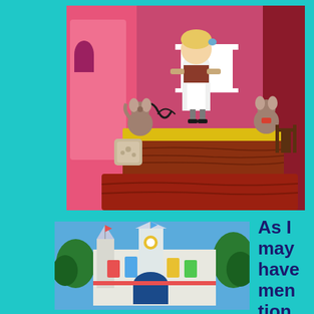[Figure (photo): Disney attraction animatronic scene showing a Cinderella-like doll figure standing on a glittery table with two mouse animatronics on either side, pink and red background with decorative elements]
[Figure (photo): Outdoor photo of It's a Small World castle/facade at Disneyland with colorful decorations, blue sky, and trees in the background]
As I may have mention tion